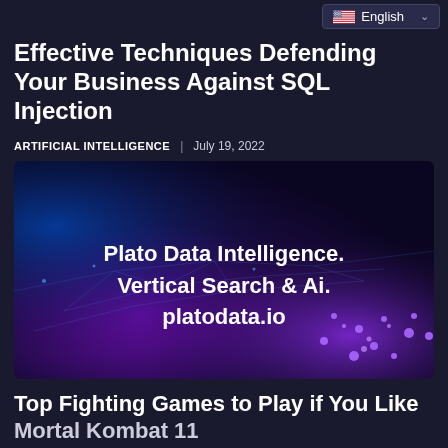English
Effective Techniques Defending Your Business Against SQL Injection
ARTIFICIAL INTELLIGENCE | July 19, 2022
[Figure (photo): Dark blue and purple digital landscape with glowing particle network effect. White bold text reads: Plato Data Intelligence. Vertical Search & Ai. platodata.io]
Top Fighting Games to Play if You Like Mortal Kombat 11